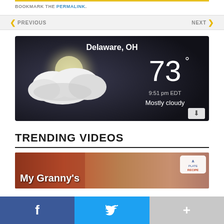BOOKMARK THE PERMALINK.
< PREVIOUS   NEXT >
[Figure (screenshot): Weather widget showing Delaware, OH, 73 degrees, 9:51 pm EDT, Mostly cloudy, with cloud graphic on dark background]
TRENDING VIDEOS
[Figure (screenshot): Video thumbnail with text 'My Granny's' and a recipe badge logo in top right corner]